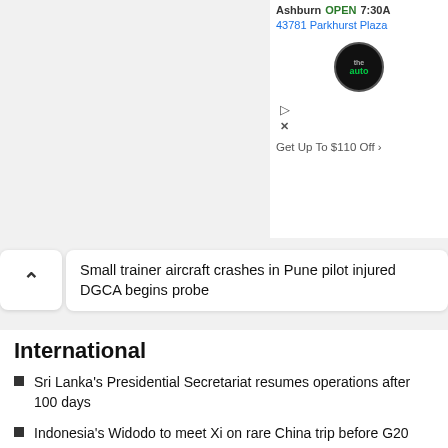[Figure (screenshot): Advertisement banner showing 'the auto' logo, Ashburn OPEN 7:30A, 43781 Parkhurst Plaza, Get Up To $110 Off text, with play and close icons]
Small trainer aircraft crashes in Pune pilot injured DGCA begins probe
International
Sri Lanka's Presidential Secretariat resumes operations after 100 days
Indonesia's Widodo to meet Xi on rare China trip before G20
Sri Lankan police arrest 3 people while selling items stolen from President's House
Young Ukrainians use techno parties to rebuild villages
Pak govt coalition leaders criticise judiciary over handling of Punjab CM re-election case
Entertainment